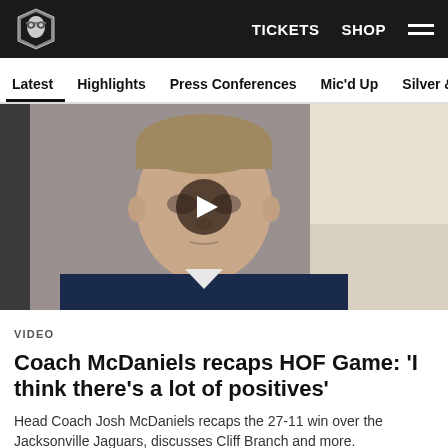Raiders | TICKETS  SHOP
Latest  Highlights  Press Conferences  Mic'd Up  Silver & Black
[Figure (photo): Video thumbnail showing Head Coach Josh McDaniels in a video call setting, with a circular play button overlay in the center.]
VIDEO
Coach McDaniels recaps HOF Game: 'I think there's a lot of positives'
Head Coach Josh McDaniels recaps the 27-11 win over the Jacksonville Jaguars, discusses Cliff Branch and more.